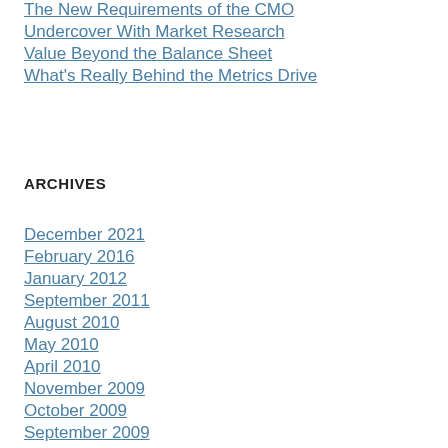The New Requirements of the CMO
Undercover With Market Research
Value Beyond the Balance Sheet
What's Really Behind the Metrics Drive
ARCHIVES
December 2021
February 2016
January 2012
September 2011
August 2010
May 2010
April 2010
November 2009
October 2009
September 2009